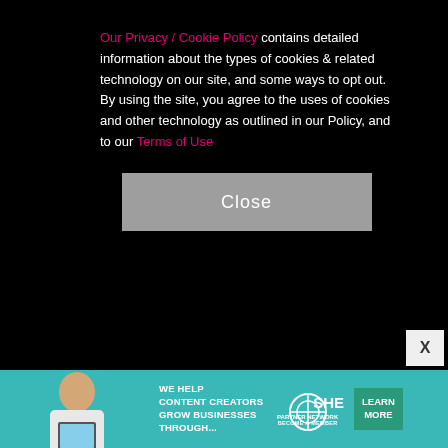[Figure (photo): Two people standing on a red carpet in front of signage including 'Davis', 'Hilton', and Grammy Award logos. The woman on the left wears a black patterned dress and holds a colorful clutch purse. The man on the right wears a dark suit.]
Our Privacy / Cookie Policy contains detailed information about the types of cookies & related technology on our site, and some ways to opt out. By using the site, you agree to the uses of cookies and other technology as outlined in our Policy, and to our Terms of Use
[Figure (screenshot): Advertisement banner: 'WE HELP CONTENT CREATORS GROW BUSINESSES THROUGH...' with SHE PARTNER NETWORK BECOME A MEMBER logo and LEARN MORE button]